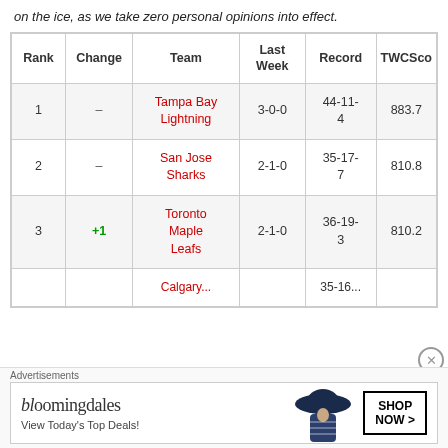on the ice, as we take zero personal opinions into effect.
| Rank | Change | Team | Last Week | Record | TWCSco |
| --- | --- | --- | --- | --- | --- |
| 1 | – | Tampa Bay Lightning | 3-0-0 | 44-11-4 | 883.7 |
| 2 | – | San Jose Sharks | 2-1-0 | 35-17-7 | 810.8 |
| 3 | +1 | Toronto Maple Leafs | 2-1-0 | 36-19-3 | 810.2 |
|  |  | Calgary... |  | 35-16... |  |
Advertisements
[Figure (screenshot): Bloomingdale's advertisement banner with logo, 'View Today's Top Deals!' tagline, woman in hat photo, and 'SHOP NOW >' button]